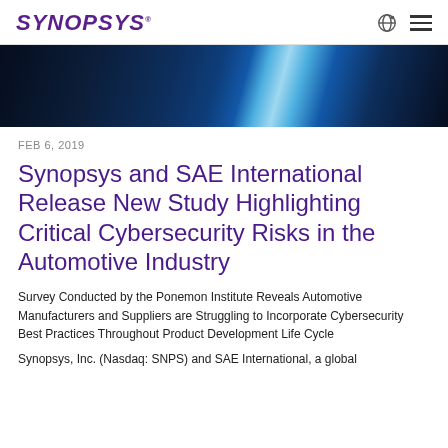SYNOPSYS
[Figure (photo): Dark blue server/technology background image with a bright diagonal light beam in the center]
FEB 6, 2019
Synopsys and SAE International Release New Study Highlighting Critical Cybersecurity Risks in the Automotive Industry
Survey Conducted by the Ponemon Institute Reveals Automotive Manufacturers and Suppliers are Struggling to Incorporate Cybersecurity Best Practices Throughout Product Development Life Cycle
Synopsys, Inc. (Nasdaq: SNPS) and SAE International, a global